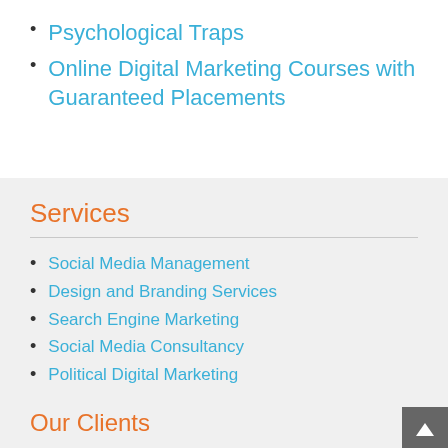Psychological Traps
Online Digital Marketing Courses with Guaranteed Placements
Services
Social Media Management
Design and Branding Services
Search Engine Marketing
Social Media Consultancy
Political Digital Marketing
Our Clients